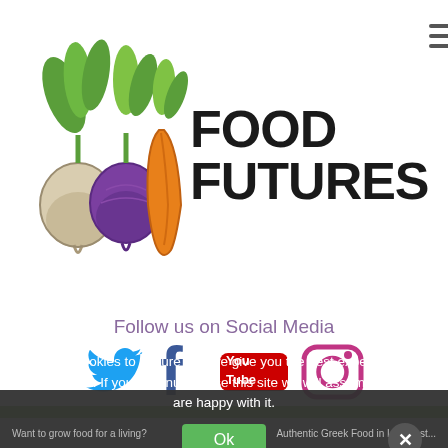[Figure (logo): Food Futures logo with illustrated vegetables (turnip, beet, carrot with green leaves) on the left, and bold text 'FOOD FUTURES' on the right]
Follow us on Social Media
[Figure (illustration): Social media icons: Twitter bird (blue), Facebook f (blue), YouTube (red/white), Instagram camera (pink gradient outline)]
Want to know better...
We use cookies to ensure that we give you the best experience on our website. If you continue to use this site we will assume that you are happy with it.
Ok
Want to grow food for a living?
Authentic Greek Food in Lanceast...